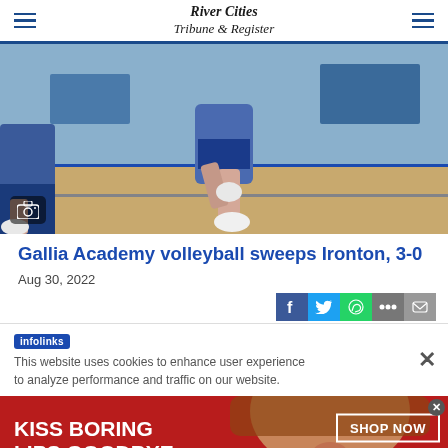River Cities Tribune & Register
[Figure (photo): Volleyball player on indoor gymnasium court, blue and white uniform, mid-action shot]
Gallia Academy volleyball sweeps Ironton, 3-0
Aug 30, 2022
[Figure (infographic): Social media share buttons: Facebook, Twitter, WhatsApp, More, Email]
This website uses cookies to enhance user experience to analyze performance and traffic on our website.
[Figure (infographic): Advertisement banner: KISS BORING LIPS GOODBYE - Macy's SHOP NOW]